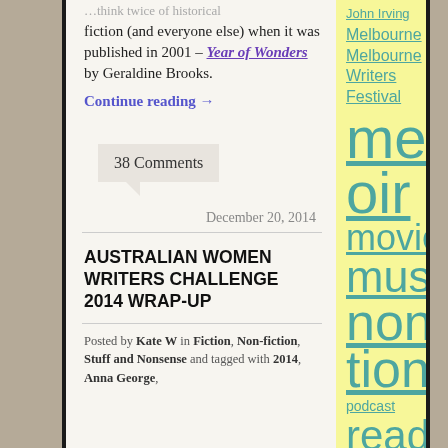fiction (and everyone else) when it was published in 2001 – Year of Wonders by Geraldine Brooks.
Continue reading →
38 Comments
December 20, 2014
AUSTRALIAN WOMEN WRITERS CHALLENGE 2014 WRAP-UP
Posted by Kate W in Fiction, Non-fiction, Stuff and Nonsense and tagged with 2014, Anna George,
John Irving
Melbourne
Melbourne Writers Festival
memoir
movie
music
nonfiction
podcast
reading challenge